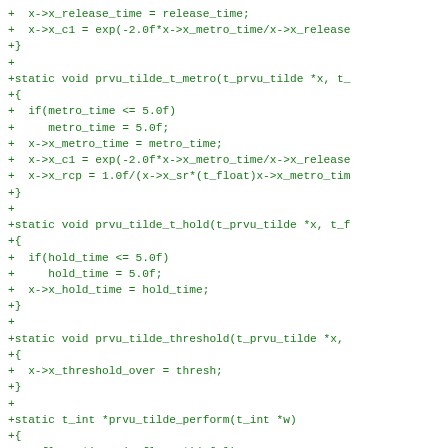+  x->x_release_time = release_time;
+  x->x_c1 = exp(-2.0f*x->x_metro_time/x->x_release
+}
+
+static void prvu_tilde_t_metro(t_prvu_tilde *x, t_
+{
+  if(metro_time <= 5.0f)
+     metro_time = 5.0f;
+  x->x_metro_time = metro_time;
+  x->x_c1 = exp(-2.0f*x->x_metro_time/x->x_release
+  x->x_rcp = 1.0f/(x->x_sr*(t_float)x->x_metro_tim
+}
+
+static void prvu_tilde_t_hold(t_prvu_tilde *x, t_f
+{
+  if(hold_time <= 5.0f)
+     hold_time = 5.0f;
+  x->x_hold_time = hold_time;
+}
+
+static void prvu_tilde_threshold(t_prvu_tilde *x,
+{
+  x->x_threshold_over = thresh;
+}
+
+static t_int *prvu_tilde_perform(t_int *w)
+{
+  t_float *in = (t_float *)(w[1]);
+  t_prvu_tilde *x = (t_prvu_tilde *)(w[2]);
+  int n = (int)(w[3]);